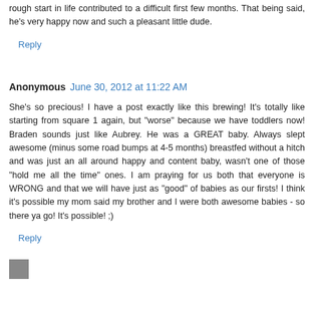rough start in life contributed to a difficult first few months. That being said, he's very happy now and such a pleasant little dude.
Reply
Anonymous  June 30, 2012 at 11:22 AM
She's so precious! I have a post exactly like this brewing! It's totally like starting from square 1 again, but "worse" because we have toddlers now! Braden sounds just like Aubrey. He was a GREAT baby. Always slept awesome (minus some road bumps at 4-5 months) breastfed without a hitch and was just an all around happy and content baby, wasn't one of those "hold me all the time" ones. I am praying for us both that everyone is WRONG and that we will have just as "good" of babies as our firsts! I think it's possible my mom said my brother and I were both awesome babies - so there ya go! It's possible! ;)
Reply